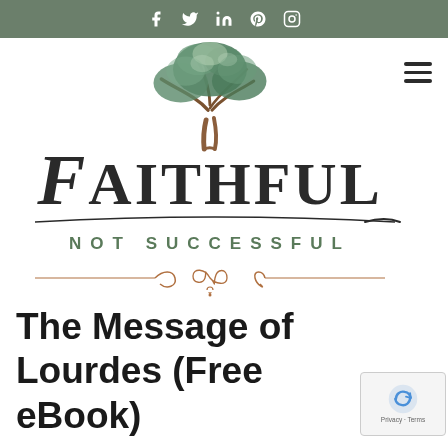f  t  in  p  (instagram icon)
[Figure (logo): Faithful Not Successful website logo featuring a painted green tree above large serif text 'FAITHFUL' with a decorative swash, below which 'NOT SUCCESSFUL' appears in spaced sans-serif green capitals, followed by an ornamental copper/bronze divider with scroll and floral motifs]
The Message of Lourdes (Free eBook)